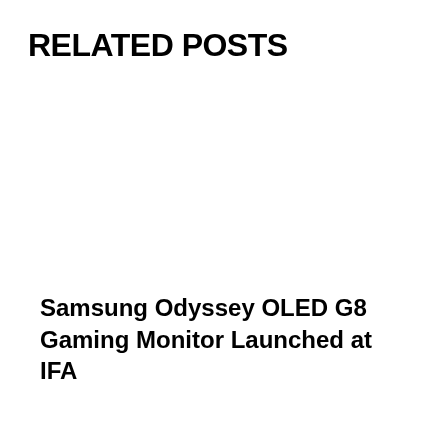RELATED POSTS
Samsung Odyssey OLED G8 Gaming Monitor Launched at IFA